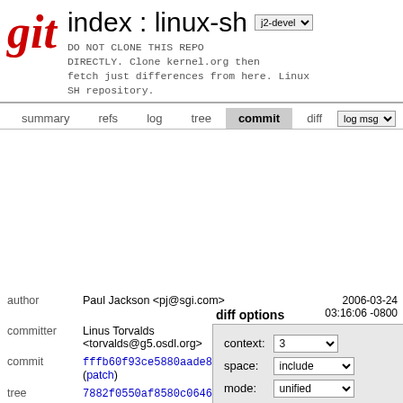index : linux-sh
DO NOT CLONE THIS REPO DIRECTLY. Clone kernel.org then fetch just differences from here. Linux SH repository.
summary  refs  log  tree  commit  diff
diff options
| field | value |
| --- | --- |
| context: | 3 |
| space: | include |
| mode: | unified |
| key | value | date |
| --- | --- | --- |
| author | Paul Jackson <pj@sgi.com> | 2006-03-24 03:16:06 -0800 |
| committer | Linus Torvalds <torvalds@g5.osdl.org> | 2006-03-24 07:33:23 -0800 |
| commit | fffb60f93ce5880aade88e01d7133b52a4879710 (patch) |  |
| tree | 7882f0550af8580c0646306f6d391fe610f7ef8c |  |
| parent | 4b6a9316fab51af611dc8671f296734089f6a22a (diff) |  |